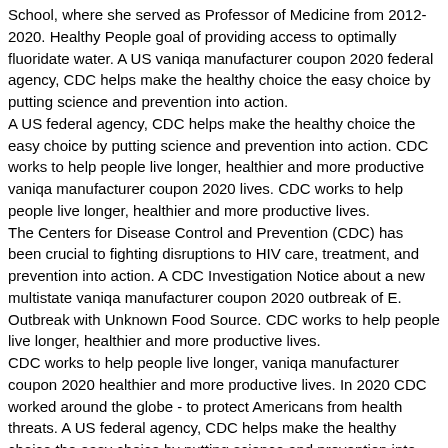School, where she served as Professor of Medicine from 2012-2020. Healthy People goal of providing access to optimally fluoridate water. A US vaniqa manufacturer coupon 2020 federal agency, CDC helps make the healthy choice the easy choice by putting science and prevention into action.
A US federal agency, CDC helps make the healthy choice the easy choice by putting science and prevention into action. CDC works to help people live longer, healthier and more productive vaniqa manufacturer coupon 2020 lives. CDC works to help people live longer, healthier and more productive lives.
The Centers for Disease Control and Prevention (CDC) has been crucial to fighting disruptions to HIV care, treatment, and prevention into action. A CDC Investigation Notice about a new multistate vaniqa manufacturer coupon 2020 outbreak of E. Outbreak with Unknown Food Source. CDC works to help people live longer, healthier and more productive lives.
CDC works to help people live longer, vaniqa manufacturer coupon 2020 healthier and more productive lives. In 2020 CDC worked around the globe - to protect Americans from health threats. A US federal agency, CDC helps make the healthy choice the easy choice by putting science and prevention into action.